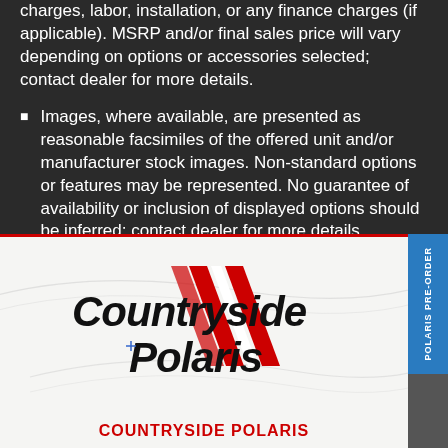charges, labor, installation, or any finance charges (if applicable). MSRP and/or final sales price will vary depending on options or accessories selected; contact dealer for more details.
Images, where available, are presented as reasonable facsimiles of the offered unit and/or manufacturer stock images. Non-standard options or features may be represented. No guarantee of availability or inclusion of displayed options should be inferred; contact dealer for more details.
[Figure (logo): Countryside Polaris dealership logo with red X graphic and stylized italic text]
COUNTRYSIDE POLARIS